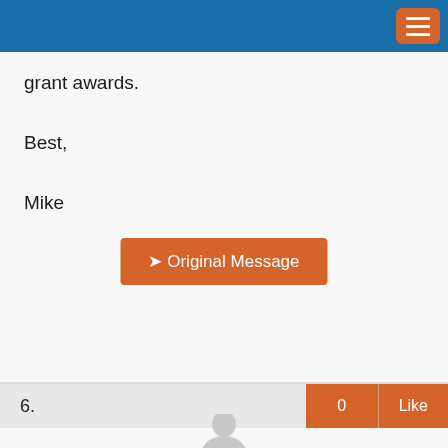grant awards.
Best,
Mike
[Figure (other): Orange button labeled '➤ Original Message']
6.
[Figure (illustration): Generic user avatar silhouette (gray head and shoulders icon)]